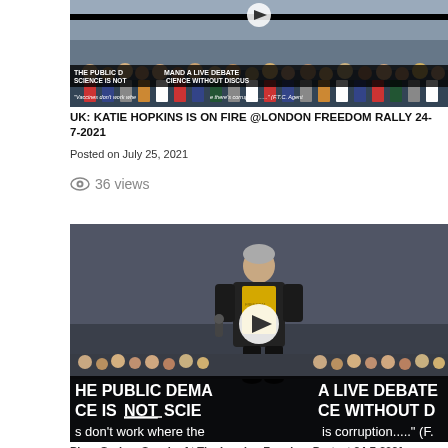[Figure (photo): Video thumbnail showing a crowd at London Freedom Rally with banner text: THE PUBLIC DEMAND A LIVE DEBATE / SCIENCE IS NOT SCIENCE WITHOUT DISCUSSION / Vaccines don't work where there's corruption (F.T.C. Agent)]
UK: KATIE HOPKINS IS ON FIRE @LONDON FREEDOM RALLY 24-7-2021
Posted on July 25, 2021
👁 36 views
[Figure (photo): Video thumbnail showing a speaker in a yellow shirt and dark jacket on stage at a rally, with banner: HE PUBLIC DEMAND A LIVE DEBATE / CE IS NOT SCIENCE WITHOUT D / s don't work where the is corruption..... (F.]
Piers Corbyn Speaks At The London Freedom Protest 24-7-2021